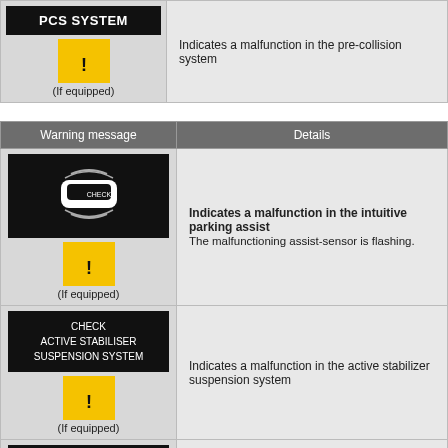| Warning message | Details |
| --- | --- |
| PCS SYSTEM / (If equipped) | Indicates a malfunction in the pre-collision system |
| CHECK SONAR / (If equipped) | Indicates a malfunction in the intuitive parking assist
The malfunctioning assist-sensor is flashing. |
| CHECK ACTIVE STABILISER SUSPENSION SYSTEM / (If equipped) | Indicates a malfunction in the active stabilizer suspension system |
| CHECK CRUISE CONTROL SYSTEM | Indicates a malfunction in the radar cruise control |